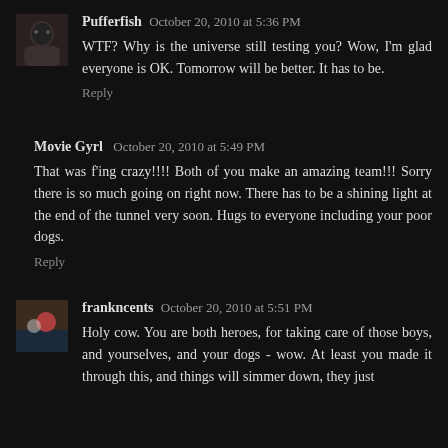Pufferfish  October 20, 2010 at 5:36 PM
WTF? Why is the universe still testing you? Wow, I'm glad everyone is OK. Tomorrow will be better. It has to be.
Reply
Movie Gyrl  October 20, 2010 at 5:49 PM
That was f'ing crazy!!!! Both of you make an amazing team!!! Sorry there is so much going on right now. There has to be a shining light at the end of the tunnel very soon. Hugs to everyone including your poor dogs.
Reply
frankncents  October 20, 2010 at 5:51 PM
Holy cow. You are both heroes, for taking care of those boys, and yourselves, and your dogs - wow. At least you made it through this, and things will simmer down, they just